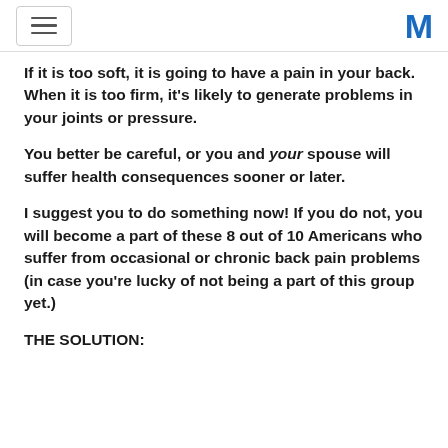[hamburger menu icon] [M logo]
If it is too soft, it is going to have a pain in your back. When it is too firm, it’s likely to generate problems in your joints or pressure.
You better be careful, or you and your spouse will suffer health consequences sooner or later.
I suggest you to do something now! If you do not, you will become a part of these 8 out of 10 Americans who suffer from occasional or chronic back pain problems (in case you’re lucky of not being a part of this group yet.)
THE SOLUTION: